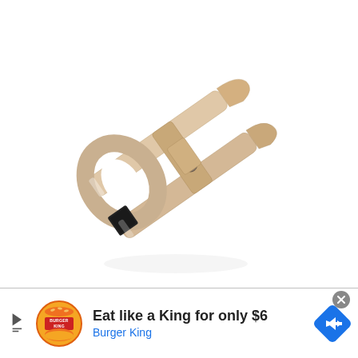[Figure (photo): A stainless steel nail clipper with a large oval loop handle, angled jaw, and black rubber grip pad, photographed on a white background. The clipper is oriented diagonally.]
[Figure (infographic): Burger King advertisement banner. Shows Burger King logo on the left (orange and yellow bun with red BURGER KING text), then bold text 'Eat like a King for only $6', subtitle 'Burger King' in blue, a blue diamond-shaped navigation/directions icon on the right, a gray close (X) button in the top right corner, and a small play/skip icon on the far left.]